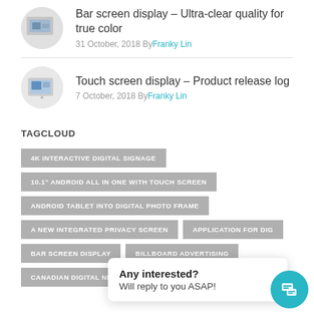[Figure (photo): Circular thumbnail image for bar screen display post]
Bar screen display – Ultra-clear quality for true color
31 October, 2018 By Franky Lin
[Figure (photo): Circular thumbnail image for touch screen display post]
Touch screen display – Product release log
7 October, 2018 By Franky Lin
TAGCLOUD
4K INTERACTIVE DIGITAL SIGNAGE
10.1" ANDROID ALL IN ONE WITH TOUCH SCREEN
ANDROID TABLET INTO DIGITAL PHOTO FRAME
A NEW INTEGRATED PRIVACY SCREEN
APPLICATION FOR DIG...
BAR SCREEN DISPLAY
BILLBOARD ADVERTISING
CANADIAN DIGITAL NETWORK
Any interested? Will reply to you ASAP!